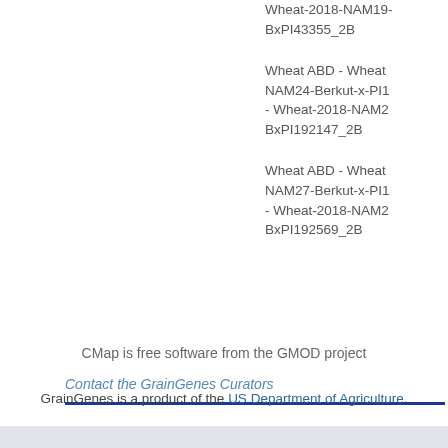Wheat-2018-NAM19-BxPI43355_2B
Wheat ABD - Wheat NAM24-Berkut-x-PI192147 - Wheat-2018-NAM24-BxPI192147_2B
Wheat ABD - Wheat NAM27-Berkut-x-PI192569 - Wheat-2018-NAM27-BxPI192569_2B
CMap is free software from the GMOD project
Contact the GrainGenes Curators
[Figure (logo): USDA logo with green landscape graphic]
GrainGenes is a product of the US Department of Agriculture.